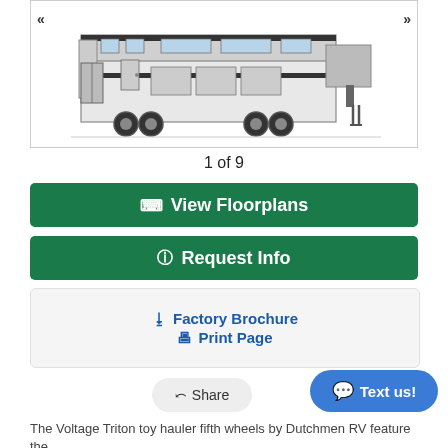[Figure (photo): Exterior photo of a Voltage Triton toy hauler fifth wheel RV, white and black, shown from rear angle in a carousel viewer with left/right navigation arrows]
1 of 9
View Floorplans
Request Info
Factory Brochure
Print Page
Share
Text us!
The Voltage Triton toy hauler fifth wheels by Dutchmen RV feature the...